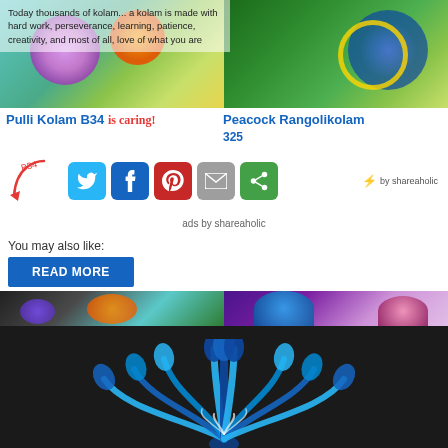[Figure (photo): Two kolam/rangoli images side by side at top. Left: colorful floral kolam with pink, orange, blue flowers on teal background. Right: peacock rangoli in greens and blues.]
Today thousands of kolam... a kolam is made with hard work, perseverance, learning, patience, creativity, and most of all, love of what you are
Pulli Kolam B34 is caring!
Peacock Rangolikolam 325
[Figure (screenshot): Social sharing buttons: Twitter (blue), Facebook (dark blue), Pinterest (red), Email (grey), ShareThis (green). With shareaholic branding.]
ads by shareaholic
You may also like:
READ MORE
[Figure (photo): Bottom section showing kolam/rangoli images. Top strip shows two small kolam thumbnails. Below is a large dark background with a blue peacock feather fan design kolam in progress.]